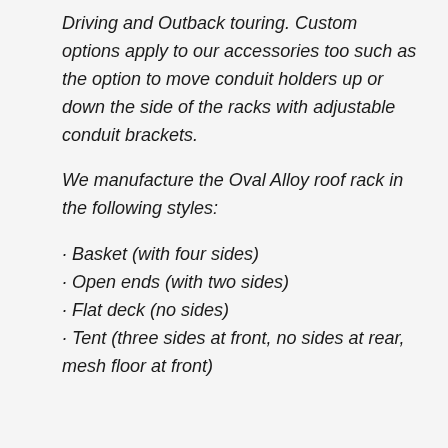Driving and Outback touring. Custom options apply to our accessories too such as the option to move conduit holders up or down the side of the racks with adjustable conduit brackets.
We manufacture the Oval Alloy roof rack in the following styles:
Basket (with four sides)
Open ends (with two sides)
Flat deck (no sides)
Tent (three sides at front, no sides at rear, mesh floor at front)